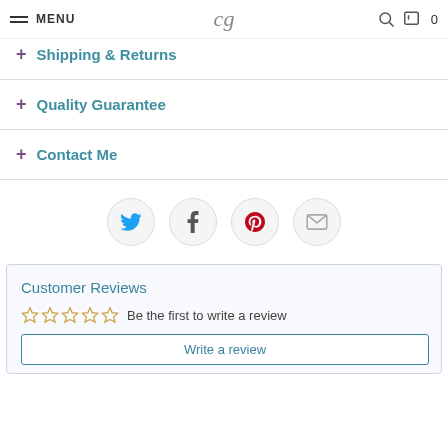MENU | cg | 🔍 | 🛒 0
+ Shipping & Returns
+ Quality Guarantee
+ Contact Me
[Figure (infographic): Social share buttons: Twitter, Facebook, Pinterest, Email — circular icons in a row]
Customer Reviews
☆☆☆☆☆ Be the first to write a review
Write a review